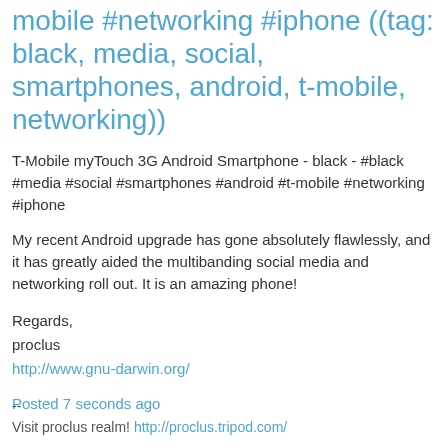mobile #networking #iphone ((tag: black, media, social, smartphones, android, t-mobile, networking))
T-Mobile myTouch 3G Android Smartphone - black - #black #media #social #smartphones #android #t-mobile #networking #iphone
My recent Android upgrade has gone absolutely flawlessly, and it has greatly aided the multibanding social media and networking roll out. It is an amazing phone!
Regards,
proclus
http://www.gnu-darwin.org/
Posted 7 seconds ago
--
Visit proclus realm! http://proclus.tripod.com/